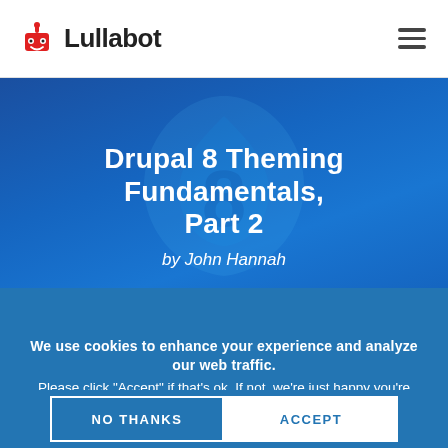Lullabot
Drupal 8 Theming Fundamentals, Part 2
by John Hannah
We use cookies to enhance your experience and analyze our web traffic. Please click “Accept” if that’s ok. If not, we’re just happy you’re here. Enjoy our site!
NO THANKS
ACCEPT